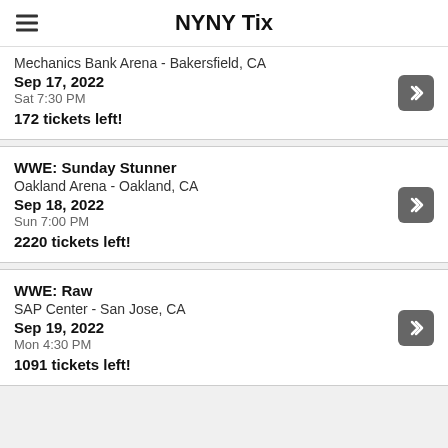NYNY Tix
Mechanics Bank Arena - Bakersfield, CA
Sep 17, 2022
Sat 7:30 PM
172 tickets left!
WWE: Sunday Stunner
Oakland Arena - Oakland, CA
Sep 18, 2022
Sun 7:00 PM
2220 tickets left!
WWE: Raw
SAP Center - San Jose, CA
Sep 19, 2022
Mon 4:30 PM
1091 tickets left!